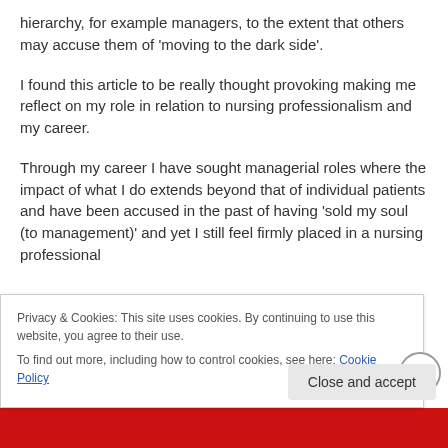hierarchy, for example managers, to the extent that others may accuse them of 'moving to the dark side'.
I found this article to be really thought provoking making me reflect on my role in relation to nursing professionalism and my career.
Through my career I have sought managerial roles where the impact of what I do extends beyond that of individual patients and have been accused in the past of having 'sold my soul (to management)' and yet I still feel firmly placed in a nursing professional
Privacy & Cookies: This site uses cookies. By continuing to use this website, you agree to their use.
To find out more, including how to control cookies, see here: Cookie Policy